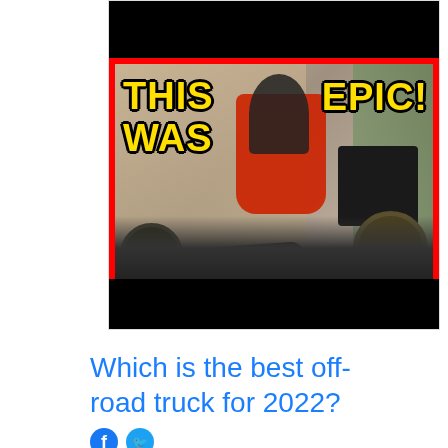[Figure (photo): YouTube video thumbnail with red border showing a person in a black shirt working on vehicle parts (axle, wheels, engine components) in a garage. Yellow bold text on left reads 'THIS WAS' and on right reads 'EPIC!'. Black bars at top and bottom of the card.]
Which is the best off-road truck for 2022?